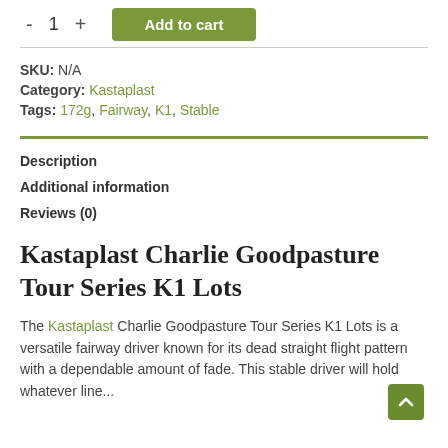- 1 + Add to cart
SKU: N/A
Category: Kastaplast
Tags: 172g, Fairway, K1, Stable
Description
Additional information
Reviews (0)
Kastaplast Charlie Goodpasture Tour Series K1 Lots
The Kastaplast Charlie Goodpasture Tour Series K1 Lots is a versatile fairway driver known for its dead straight flight pattern with a dependable amount of fade. This stable driver will hold whatever line...